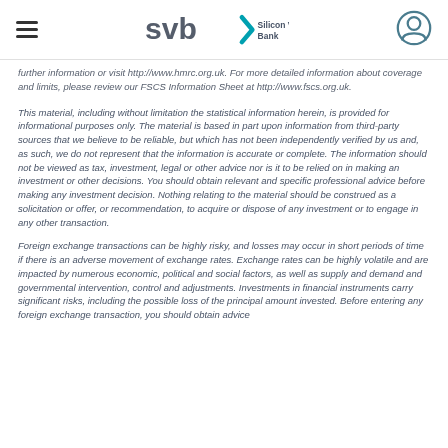SVB Silicon Valley Bank
further information or visit http://www.hmrc.org.uk. For more detailed information about coverage and limits, please review our FSCS Information Sheet at http://www.fscs.org.uk.
This material, including without limitation the statistical information herein, is provided for informational purposes only. The material is based in part upon information from third-party sources that we believe to be reliable, but which has not been independently verified by us and, as such, we do not represent that the information is accurate or complete. The information should not be viewed as tax, investment, legal or other advice nor is it to be relied on in making an investment or other decisions. You should obtain relevant and specific professional advice before making any investment decision. Nothing relating to the material should be construed as a solicitation or offer, or recommendation, to acquire or dispose of any investment or to engage in any other transaction.
Foreign exchange transactions can be highly risky, and losses may occur in short periods of time if there is an adverse movement of exchange rates. Exchange rates can be highly volatile and are impacted by numerous economic, political and social factors, as well as supply and demand and governmental intervention, control and adjustments. Investments in financial instruments carry significant risks, including the possible loss of the principal amount invested. Before entering any foreign exchange transaction, you should obtain advice